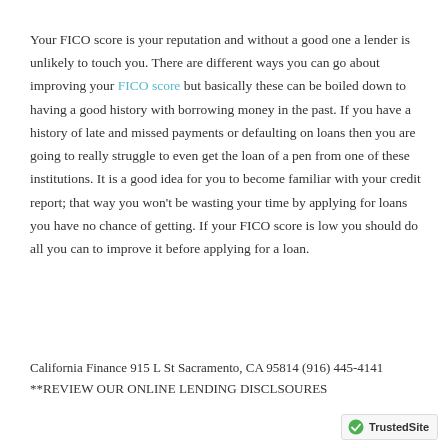Your FICO score is your reputation and without a good one a lender is unlikely to touch you. There are different ways you can go about improving your FICO score but basically these can be boiled down to having a good history with borrowing money in the past. If you have a history of late and missed payments or defaulting on loans then you are going to really struggle to even get the loan of a pen from one of these institutions. It is a good idea for you to become familiar with your credit report; that way you won't be wasting your time by applying for loans you have no chance of getting. If your FICO score is low you should do all you can to improve it before applying for a loan.
California Finance 915 L St Sacramento, CA 95814 (916) 445-4141 **REVIEW OUR ONLINE LENDING DISCLSOURES
[Figure (logo): TrustedSite logo with green checkmark badge]